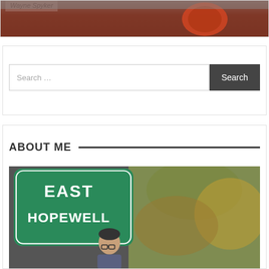[Figure (photo): Top banner photo showing a vintage red car detail with a text overlay reading 'Wayne Spyker' in italic style on a light gray box]
[Figure (screenshot): Search widget with a text input field labeled 'Search ...' and a dark gray Search button]
ABOUT ME
[Figure (photo): Photo of a person standing in front of a green road sign reading 'EAST HOPEWELL' with autumn foliage in the background]